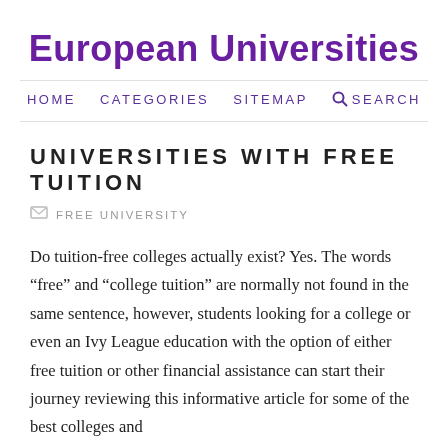European Universities
HOME   CATEGORIES   SITEMAP   SEARCH
UNIVERSITIES WITH FREE TUITION
FREE UNIVERSITY
Do tuition-free colleges actually exist? Yes. The words “free” and “college tuition” are normally not found in the same sentence, however, students looking for a college or even an Ivy League education with the option of either free tuition or other financial assistance can start their journey reviewing this informative article for some of the best colleges and